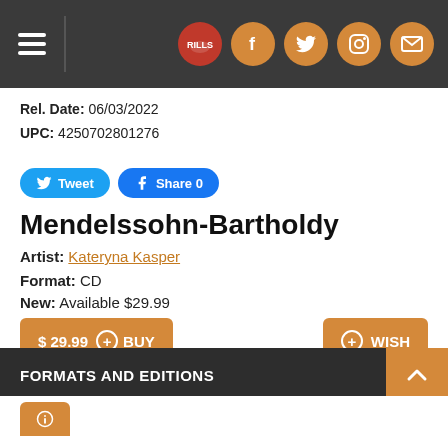Navigation bar with hamburger menu and social icons
Rel. Date: 06/03/2022
UPC: 4250702801276
Tweet  Share 0
Mendelssohn-Bartholdy
Artist: Kateryna Kasper
Format: CD
New: Available $29.99
$ 29.99  BUY    WISH
FORMATS AND EDITIONS